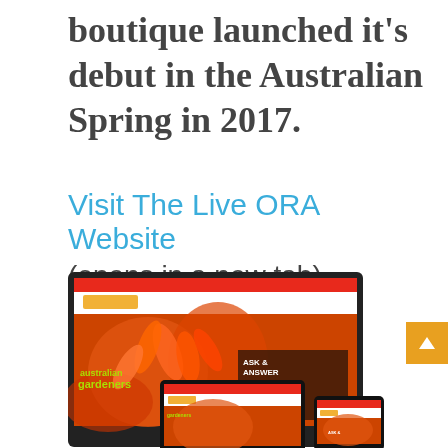boutique launched it's debut in the Australian Spring in 2017.
Visit The Live ORA Website (opens in a new tab)
[Figure (screenshot): Screenshot of the Australian Gardeners Network website shown on laptop, tablet, and mobile devices. The site features orange/red flower imagery with text 'ASK & ANSWER Join the FORUM Meet Local Gardeners Industry Pros &amp; more']